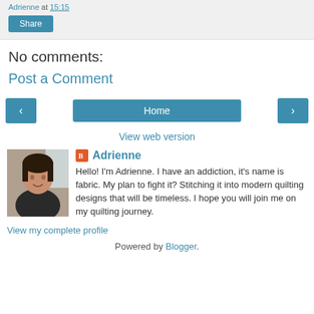Adrienne at 15:15
Share
No comments:
Post a Comment
< Home >
View web version
[Figure (photo): Profile photo of Adrienne, a woman with dark hair, smiling]
Adrienne
Hello! I'm Adrienne. I have an addiction, it's name is fabric. My plan to fight it? Stitching it into modern quilting designs that will be timeless. I hope you will join me on my quilting journey.
View my complete profile
Powered by Blogger.